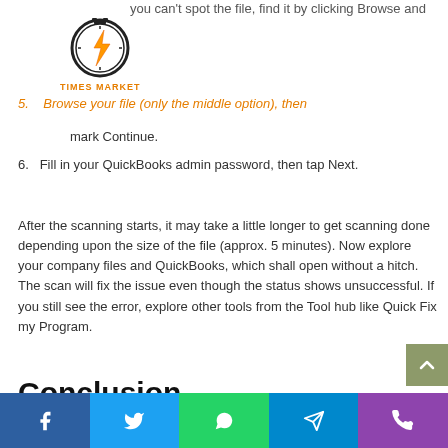[Figure (logo): Times Market logo: stopwatch icon with lightning bolt, orange text TIMES MARKET below]
you can't spot the file, find it by clicking Browse and
5. Browse your file (only the middle option), then mark Continue.
6. Fill in your QuickBooks admin password, then tap Next.
After the scanning starts, it may take a little longer to get scanning done depending upon the size of the file (approx. 5 minutes). Now explore your company files and QuickBooks, which shall open without a hitch. The scan will fix the issue even though the status shows unsuccessful. If you still see the error, explore other tools from the Tool hub like Quick Fix my Program.
Conclusion
[Figure (other): Social share bar with Facebook, Twitter, WhatsApp, Telegram, Phone buttons]